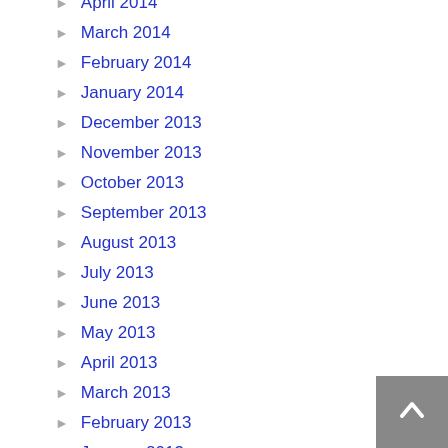April 2014
March 2014
February 2014
January 2014
December 2013
November 2013
October 2013
September 2013
August 2013
July 2013
June 2013
May 2013
April 2013
March 2013
February 2013
January 2013